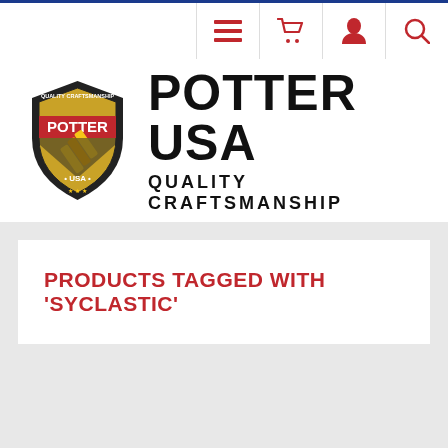Navigation bar with menu, cart, user, and search icons
[Figure (logo): Potter USA Quality Craftsmanship shield logo with hammer graphic and brand name]
PRODUCTS TAGGED WITH 'SYCLASTIC'